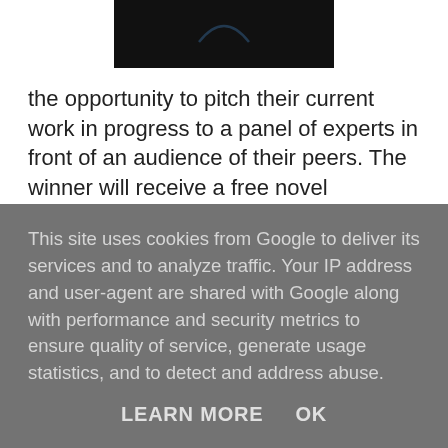[Figure (photo): Dark/black image at top center, partially cropped, showing what appears to be a dark background with a faint curved line or logo element]
the opportunity to pitch their current work in progress to a panel of experts in front of an audience of their peers. The winner will receive a free novel assessment, sponsored by Creative Writing Matters. The closing date to apply to take part is 16th June, please see the CWC website for details.
This site uses cookies from Google to deliver its services and to analyze traffic. Your IP address and user-agent are shared with Google along with performance and security metrics to ensure quality of service, generate usage statistics, and to detect and address abuse.
LEARN MORE    OK